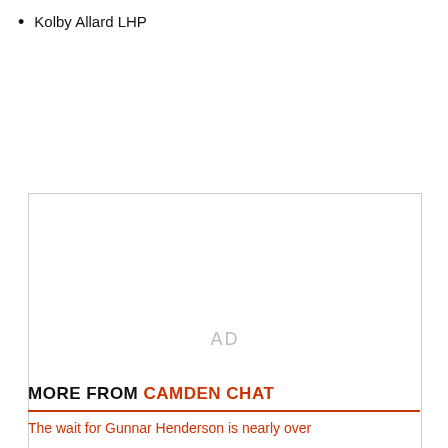Kolby Allard LHP
[Figure (other): Advertisement placeholder box with 'AD' text centered]
MORE FROM CAMDEN CHAT
The wait for Gunnar Henderson is nearly over